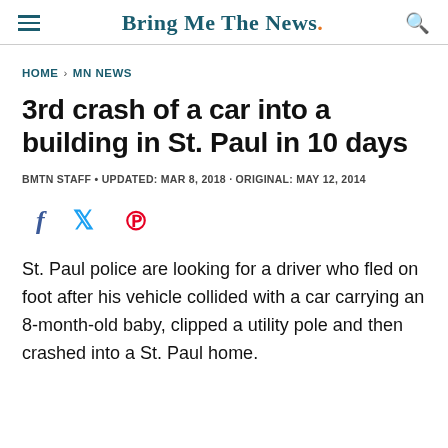Bring Me The News.
HOME > MN NEWS
3rd crash of a car into a building in St. Paul in 10 days
BMTN STAFF • UPDATED: MAR 8, 2018 · ORIGINAL: MAY 12, 2014
[Figure (other): Social sharing icons: Facebook, Twitter, Pinterest]
St. Paul police are looking for a driver who fled on foot after his vehicle collided with a car carrying an 8-month-old baby, clipped a utility pole and then crashed into a St. Paul home.